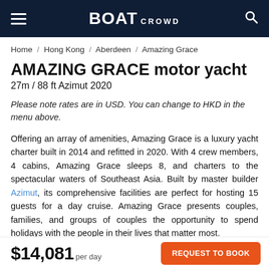BOAT CROWD
Home / Hong Kong / Aberdeen / Amazing Grace
AMAZING GRACE motor yacht
27m / 88 ft Azimut 2020
Please note rates are in USD. You can change to HKD in the menu above.
Offering an array of amenities, Amazing Grace is a luxury yacht charter built in 2014 and refitted in 2020. With 4 crew members, 4 cabins, Amazing Grace sleeps 8, and charters to the spectacular waters of Southeast Asia. Built by master builder Azimut, its comprehensive facilities are perfect for hosting 15 guests for a day cruise. Amazing Grace presents couples, families, and groups of couples the opportunity to spend holidays with the people in their lives that matter most.
$14,081 per day
REQUEST TO BOOK